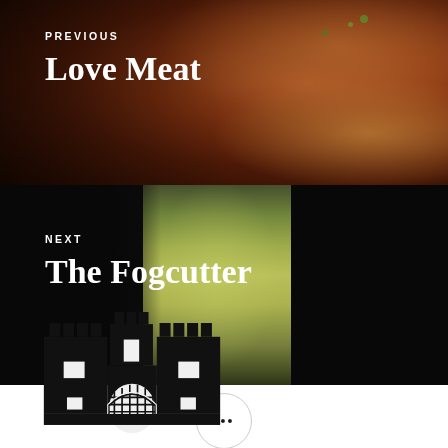[Figure (photo): PREVIOUS navigation block with meat/steak photo background, showing grilled meat with text 'PREVIOUS' and 'Love Meat']
[Figure (photo): NEXT navigation block with drink/cocktail photo (yellow-green beverage in tall glass) background, dark left side, with text 'NEXT' and 'The Fogcutter']
[Figure (illustration): Three dots ellipsis button inside a circle, used as a navigation/share UI element]
[Figure (logo): Castle/fortress black silhouette logo icon at bottom of page]